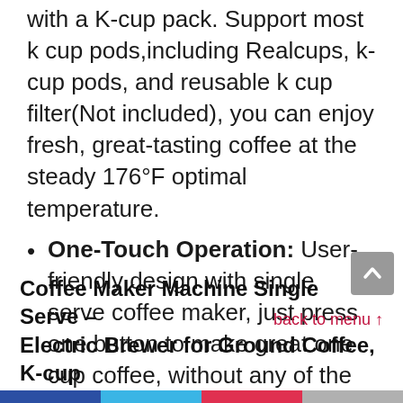with a K-cup pack. Support most k cup pods,including Realcups, k-cup pods, and reusable k cup filter(Not included), you can enjoy fresh, great-tasting coffee at the steady 176°F optimal temperature.
One-Touch Operation: User-friendly design with single serve coffee maker, just press one button to make great one cup coffee, without any of the usual hassle or cleanup.
back to menu ↑
Coffee Maker Machine Single Serve – Electric Brewer for Ground Coffee, K-cup